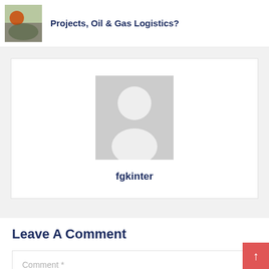Projects, Oil & Gas Logistics?
[Figure (photo): Thumbnail image of a bird or outdoor scene in small square format]
[Figure (illustration): Default user avatar placeholder (grey square with white silhouette of a person)]
fgkinter
Leave A Comment
Comment *